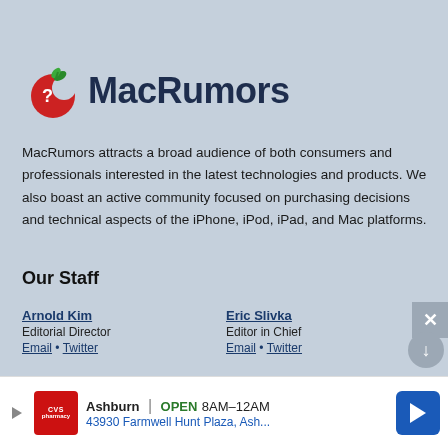[Figure (logo): MacRumors logo: red apple with bite taken out, green leaf, with 'MacRumors' in dark navy bold text]
MacRumors attracts a broad audience of both consumers and professionals interested in the latest technologies and products. We also boast an active community focused on purchasing decisions and technical aspects of the iPhone, iPod, iPad, and Mac platforms.
Our Staff
Arnold Kim
Editorial Director
Email • Twitter
Eric Slivka
Editor in Chief
Email • Twitter
Juli Clover
Senior Edit[or]
Email • Tw[itter]
Joe Rossignol
Senior News Rep[orter]
[Email • Twitter]
[Figure (infographic): CVS pharmacy advertisement banner: Ashburn OPEN 8AM-12AM, 43930 Farmwell Hunt Plaza, Ash... with CVS logo and navigation arrow]